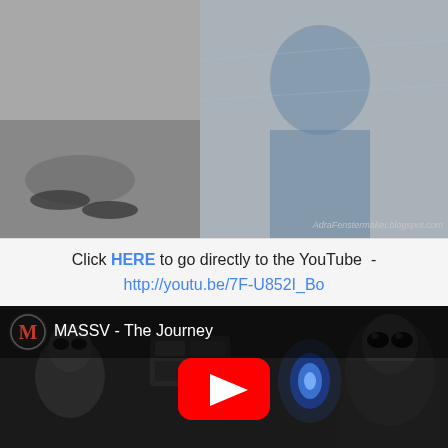[Figure (photo): Two side-by-side photos: left shows feet/legs on a floor, right shows a person in blue costume. Watermark: AdraFenstermaker.blogspot.com]
Filmed in Boise, Idaho for MASSV Music Festival in Sun Valley, Idaho. Featuring Adra Janean Fenstermaker as Cowgirl (speaking roll) and  Roller Girl Sally (non speaking roll).
Click HERE to go directly to the YouTube  -
http://youtu.be/7F-U852I_Bo
[Figure (screenshot): YouTube embedded video player showing MASSV - The Journey. Dark sci-fi scene with alien figures. Red YouTube play button in center. MASSV logo (red M letter on dark circle) in top left with title 'MASSV - The Journey'.]